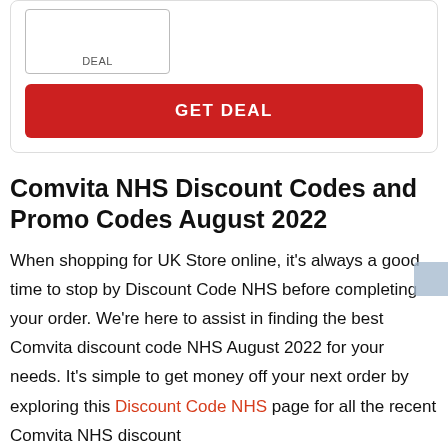[Figure (other): Deal card with a bordered box labeled DEAL and a red GET DEAL button]
Comvita NHS Discount Codes and Promo Codes August 2022
When shopping for UK Store online, it's always a good time to stop by Discount Code NHS before completing your order. We're here to assist in finding the best Comvita discount code NHS August 2022 for your needs. It's simple to get money off your next order by exploring this Discount Code NHS page for all the recent Comvita NHS discount